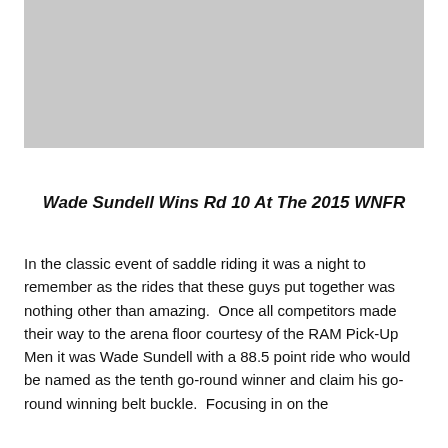[Figure (photo): Gray placeholder image at the top of the page]
Wade Sundell Wins Rd 10 At The 2015 WNFR
In the classic event of saddle riding it was a night to remember as the rides that these guys put together was nothing other than amazing.  Once all competitors made their way to the arena floor courtesy of the RAM Pick-Up Men it was Wade Sundell with a 88.5 point ride who would be named as the tenth go-round winner and claim his go-round winning belt buckle.  Focusing in on the